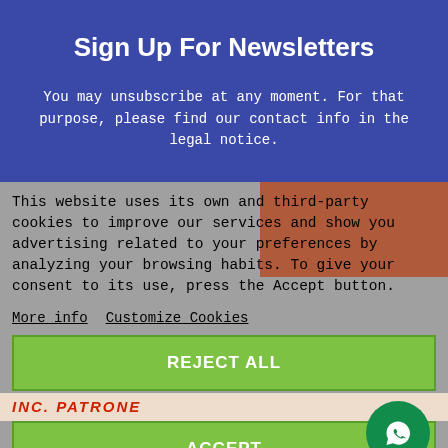Sign Up For Newsletters
You may unsubscribe at any moment. For that purpose, please find our contact info in the legal notice.
This website uses its own and third-party cookies to improve our services and show you advertising related to your preferences by analyzing your browsing habits. To give your consent to its use, press the Accept button.
More info
Customize Cookies
REJECT ALL
ACCEPT